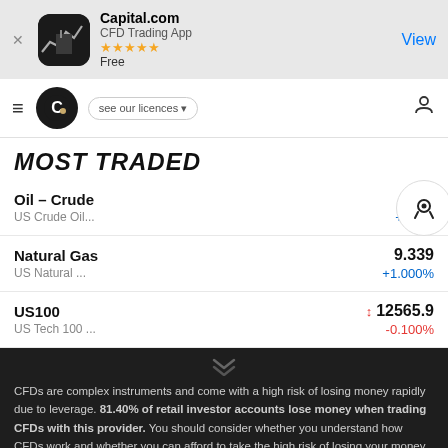[Figure (screenshot): Capital.com app banner with app icon, name, CFD Trading App subtitle, 5-star rating, Free label, and View button]
[Figure (screenshot): Capital.com website navigation bar with hamburger menu, logo, 'see our licences' dropdown, and user icon]
Most traded
Oil – Crude
US Crude Oil...
+3.1...
Natural Gas
US Natural ...
9.339
+1.000%
US100
US Tech 100 ...
12565.9
-0.100%
CFDs are complex instruments and come with a high risk of losing money rapidly due to leverage. 81.40% of retail investor accounts lose money when trading CFDs with this provider. You should consider whether you understand how CFDs work and whether you can afford to take the high risk of losing your money.
By using the Capital.com website you agree to the use of cookies.